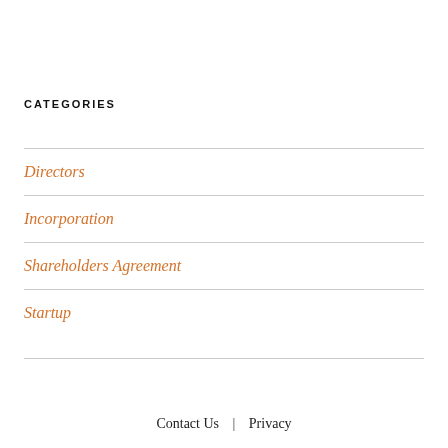CATEGORIES
Directors
Incorporation
Shareholders Agreement
Startup
Contact Us  |  Privacy